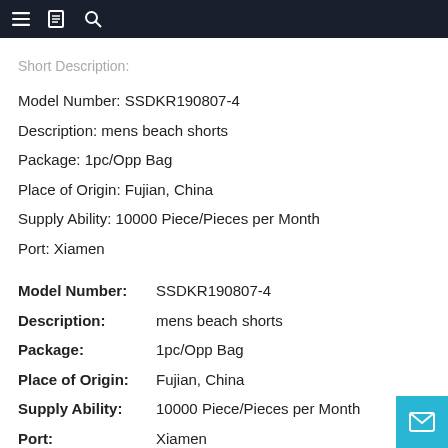≡  📋  🔍
Short Description:
Model Number: SSDKR190807-4
Description: mens beach shorts
Package: 1pc/Opp Bag
Place of Origin: Fujian, China
Supply Ability: 10000 Piece/Pieces per Month
Port: Xiamen
Model Number:    SSDKR190807-4
Description:    mens beach shorts
Package:    1pc/Opp Bag
Place of Origin:    Fujian, China
Supply Ability:    10000 Piece/Pieces per Month
Port:    Xiamen